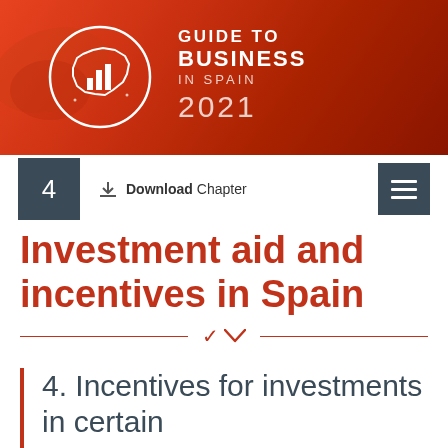[Figure (logo): Guide to Business in Spain 2021 banner with red/orange gradient background, circular Spain map icon with bar chart, and white text reading GUIDE TO BUSINESS IN SPAIN 2021]
4   Download Chapter
Investment aid and incentives in Spain
4. Incentives for investments in certain